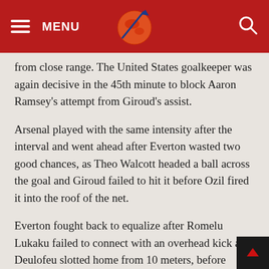MENU
from close range. The United States goalkeeper was again decisive in the 45th minute to block Aaron Ramsey's attempt from Giroud's assist.
Arsenal played with the same intensity after the interval and went ahead after Everton wasted two good chances, as Theo Walcott headed a ball across the goal and Giroud failed to hit it before Ozil fired it into the roof of the net.
Everton fought back to equalize after Romelu Lukaku failed to connect with an overhead kick and Deulofeu slotted home from 10 meters, before Giroud almost grabbed the three points with his powerful strike that hit the woodwork.
“The performance, I couldn’t be happier,” said Everton